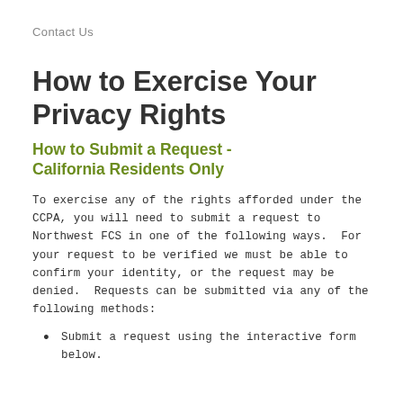Contact Us
How to Exercise Your Privacy Rights
How to Submit a Request - California Residents Only
To exercise any of the rights afforded under the CCPA, you will need to submit a request to Northwest FCS in one of the following ways.  For your request to be verified we must be able to confirm your identity, or the request may be denied.  Requests can be submitted via any of the following methods:
Submit a request using the interactive form below.